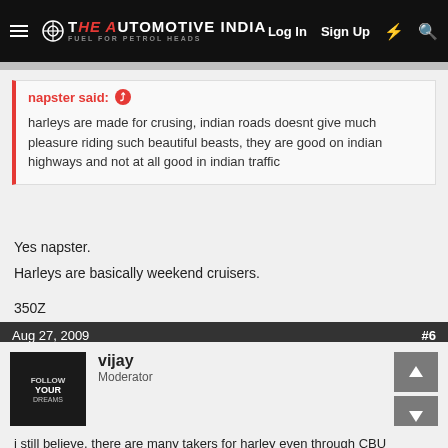The Automotive India — Log In  Sign Up
napster said:
harleys are made for crusing, indian roads doesnt give much pleasure riding such beautiful beasts, they are good on indian highways and not at all good in indian traffic
Yes napster.
Harleys are basically weekend cruisers.

350Z
Aug 27, 2009  #6
vijay
Moderator
i still believe, there are many takers for harley even through CBU route.Yes its for highway cruising which harley is at best but for biking